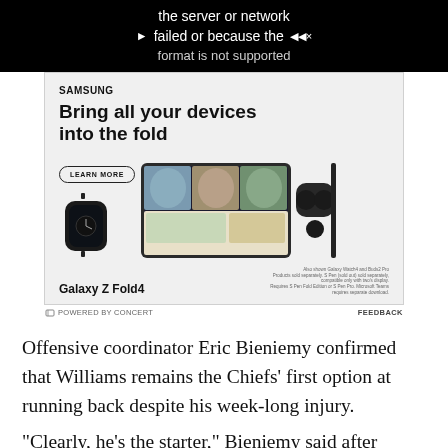[Figure (screenshot): Video player error screen with black background showing text: 'the server or network failed or because the format is not supported' with play and mute icons]
[Figure (screenshot): Samsung advertisement for Galaxy Z Fold4 showing 'Bring all your devices into the fold' with LEARN MORE button, Galaxy Watch, foldable phone with video call screen, earbuds, and stylus. Also shown Galaxy Watch4 and Buds2 Pro.]
POWERED BY CONCERT   FEEDBACK
Offensive coordinator Eric Bieniemy confirmed that Williams remains the Chiefs' first option at running back despite his week-long injury.
"Clearly, he's the starter," Bieniemy said after